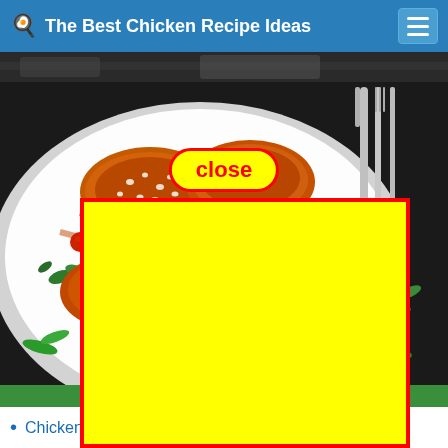The Best Chicken Recipe Ideas
[Figure (photo): Partially visible photo strip at top showing dark cooking pan background]
[Figure (photo): Main food photo: sesame glazed chicken pieces on a white plate with green herbs, sesame seeds, and silverware. A yellow advertisement box with red border overlays the lower portion. A 'close' button with red border and yellow background is overlaid in the center-upper area of the photo.]
close
[Figure (other): Yellow rectangle with red border (advertisement overlay)]
Chicken Recipe